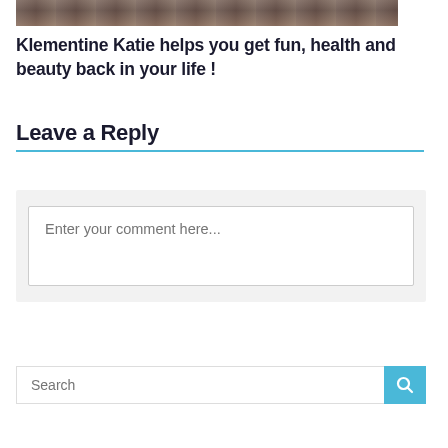[Figure (photo): Partial photo strip showing a person in white clothing outdoors, cropped at the top of the page]
Klementine Katie helps you get fun, health and beauty back in your life !
Leave a Reply
Enter your comment here...
Search